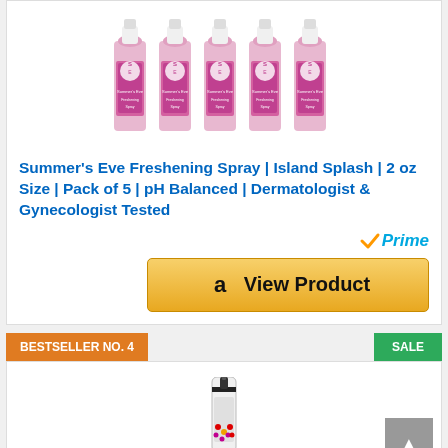[Figure (photo): Five Summer's Eve Freshening Spray pink and white canisters arranged side by side]
Summer's Eve Freshening Spray | Island Splash | 2 oz Size | Pack of 5 | pH Balanced | Dermatologist & Gynecologist Tested
[Figure (logo): Amazon Prime badge with checkmark and 'Prime' text in blue and orange]
[Figure (other): Amazon 'View Product' button with Amazon logo]
BESTSELLER NO. 4
SALE
[Figure (photo): Product spray bottle, partially visible, shown at bottom of page]
[Figure (other): Scroll to top button with upward arrow]